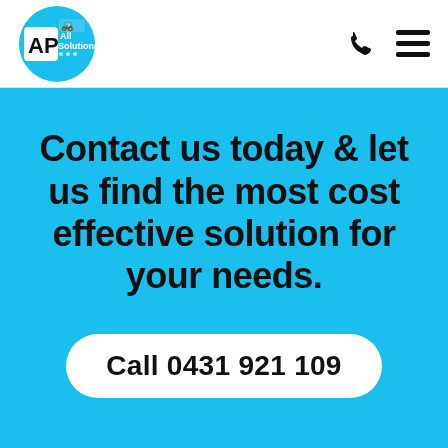[Figure (logo): AP All Solutions logo — circular blue badge with AP letters and excavator icon, company name reads 'AP All Solutions']
Contact us today & let us find the most cost effective solution for your needs.
Call 0431 921 109